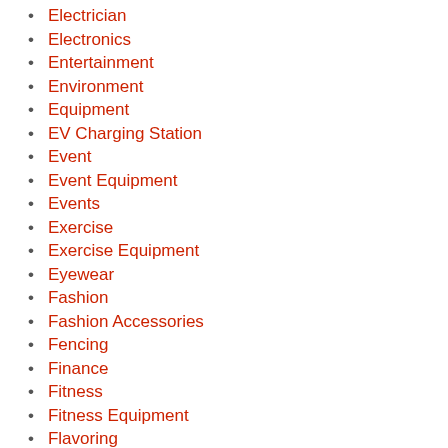Electrician
Electronics
Entertainment
Environment
Equipment
EV Charging Station
Event
Event Equipment
Events
Exercise
Exercise Equipment
Eyewear
Fashion
Fashion Accessories
Fencing
Finance
Fitness
Fitness Equipment
Flavoring